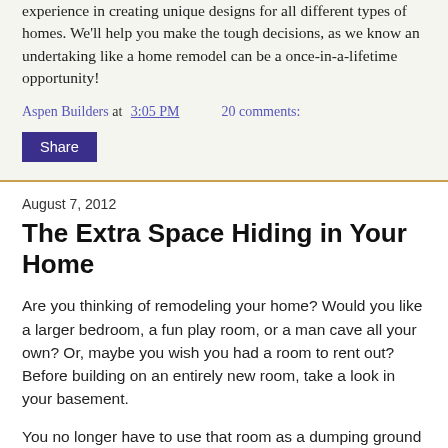experience in creating unique designs for all different types of homes. We'll help you make the tough decisions, as we know an undertaking like a home remodel can be a once-in-a-lifetime opportunity!
Aspen Builders at 3:05 PM   20 comments:
Share
August 7, 2012
The Extra Space Hiding in Your Home
Are you thinking of remodeling your home?  Would you like a larger bedroom, a fun play room, or a man cave all your own?  Or, maybe you wish you had a room to rent out?  Before building on an entirely new room, take a look in your basement.
You no longer have to use that room as a dumping ground for everything you don't want in the rest of your house.  Now, it can be a warm and inviting living space, and it doesn't have to be a cookie cut out of everyone else's design.